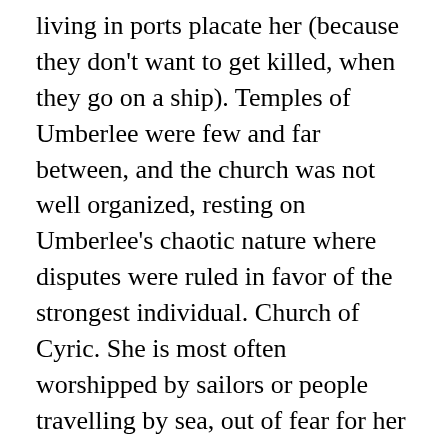living in ports placate her (because they don't want to get killed, when they go on a ship). Temples of Umberlee were few and far between, and the church was not well organized, resting on Umberlee's chaotic nature where disputes were ruled in favor of the strongest individual. Church of Cyric. She is most often worshipped by sailors or people travelling by sea, out of fear for her destructive powers. 4. The Church of Umberlee is disorganized, and different locales vary significantly in the way they practice faith in the Bitch Queen. She controls the harshness of the sea and while reveling in her own power, is not hesitant to drown people, if she so pleases. Umberlee is one of the deities described as